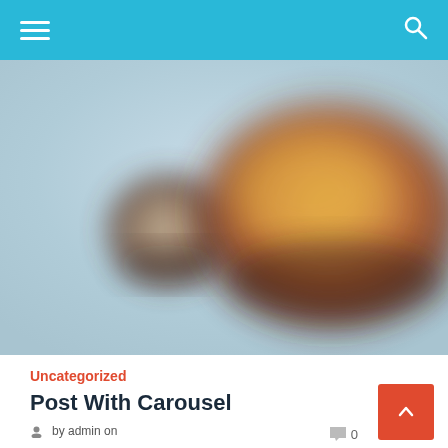Navigation bar with hamburger menu and search icon
[Figure (photo): Blurred close-up photo of food items (appears to be a burger or sandwich) on a light blue background]
Uncategorized
Post With Carousel
by admin on